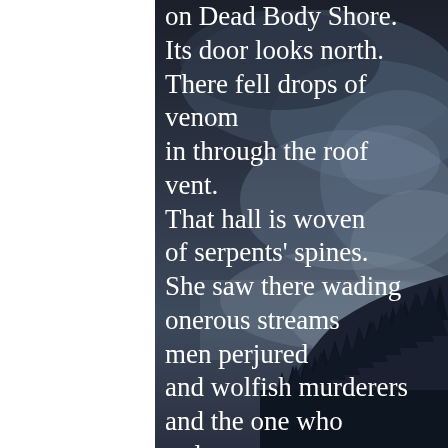[Figure (photo): Dark stormy sky with silhouetted evergreen treeline on a hillside, misty atmospheric background in dark blue-grey tones]
on Dead Body Shore.
Its door looks north.
There fell drops of venom
in through the roof vent.
That hall is woven
of serpents' spines.
She saw there wading
onerous streams
men perjured
and wolfish murderers
and the one who seduces
another's close-trusted
wife.
There Níðr...